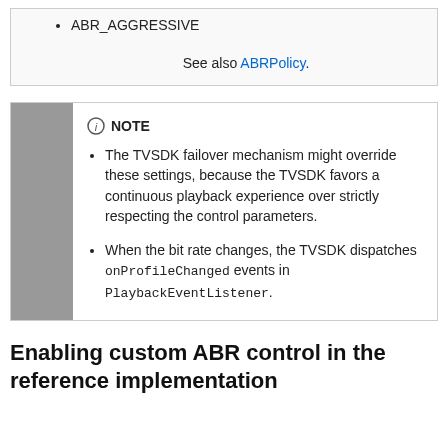ABR_AGGRESSIVE
See also ABRPolicy.
NOTE
The TVSDK failover mechanism might override these settings, because the TVSDK favors a continuous playback experience over strictly respecting the control parameters.
When the bit rate changes, the TVSDK dispatches onProfileChanged events in PlaybackEventListener.
Enabling custom ABR control in the reference implementation